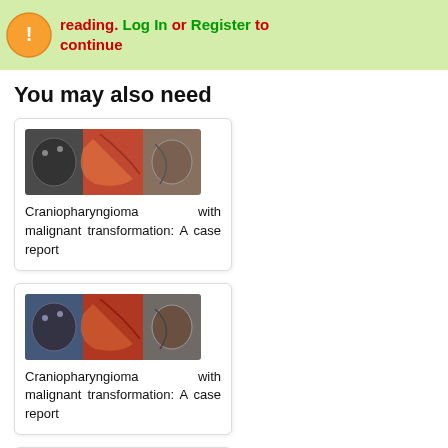reading. Log In or Register to continue
You may also need
[Figure (photo): Medical image showing three panels of craniopharyngioma brain specimen]
Craniopharyngioma with malignant transformation: A case report
[Figure (photo): Medical image showing three panels of craniopharyngioma brain specimen]
Craniopharyngioma with malignant transformation: A case report
[Figure (photo): Medical image showing craniopharyngioma brain specimen (partially visible)]